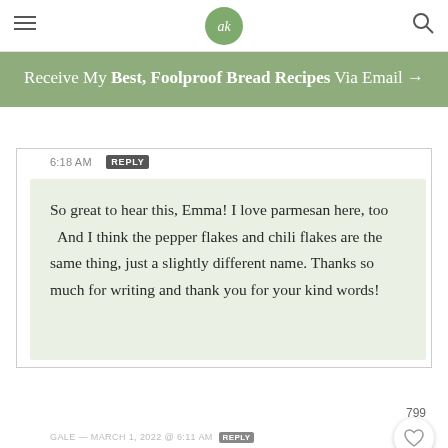ak logo navigation bar
Receive My Best, Foolproof Bread Recipes Via Email →
6:18 AM  REPLY
So great to hear this, Emma! I love parmesan here, too   And I think the pepper flakes and chili flakes are the same thing, just a slightly different name. Thanks so much for writing and thank you for your kind words!
799
GALE — MARCH 1, 2022 @ 6:11 AM  REPLY